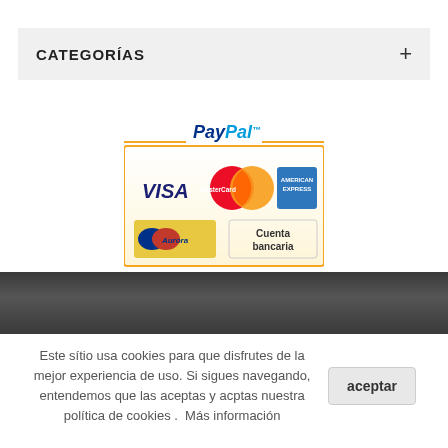CATEGORÍAS +
[Figure (logo): PayPal payment button showing VISA, MasterCard, American Express credit card logos and Aurora/Cuenta bancaria bank transfer option]
Este sítio usa cookies para que disfrutes de la mejor experiencia de uso. Si sigues navegando, entendemos que las aceptas y acptas nuestra política de cookies .  Más información
aceptar